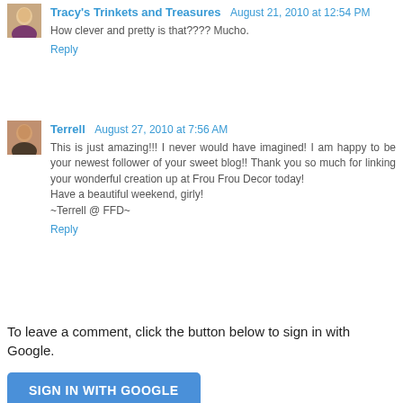Tracy's Trinkets and Treasures  August 21, 2010 at 12:54 PM
How clever and pretty is that???? Mucho.
Reply
Terrell  August 27, 2010 at 7:56 AM
This is just amazing!!! I never would have imagined! I am happy to be your newest follower of your sweet blog!! Thank you so much for linking your wonderful creation up at Frou Frou Decor today!
Have a beautiful weekend, girly!
~Terrell @ FFD~
Reply
To leave a comment, click the button below to sign in with Google.
SIGN IN WITH GOOGLE